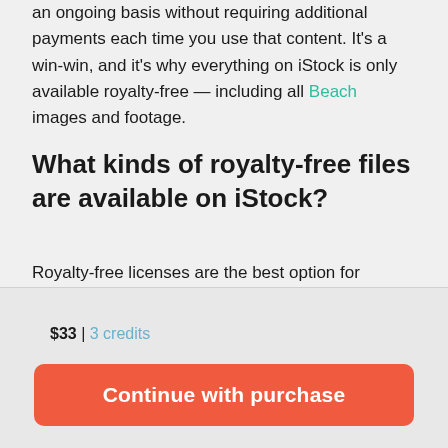an ongoing basis without requiring additional payments each time you use that content. It's a win-win, and it's why everything on iStock is only available royalty-free — including all Beach images and footage.
What kinds of royalty-free files are available on iStock?
Royalty-free licenses are the best option for anyone who needs
[Figure (infographic): Unsplash promotional banner with magenta/pink gradient background. Shows Unsplash logo icon and text: 'Unsplash Welcome to iStock: Save 20% with code UNSPLASH20'. Has a close button (X) in top right corner.]
$33 | 3 credits
Continue with purchase